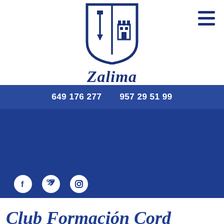[Figure (logo): Zalima shield logo with pencil and castle tower, dark blue on white, with text 'Zalima' in italic serif below]
649 176 277    957 29 51 99
[Figure (other): Social media icons: Facebook, Twitter, Instagram in white circles on blue background]
Club Formación Cord...